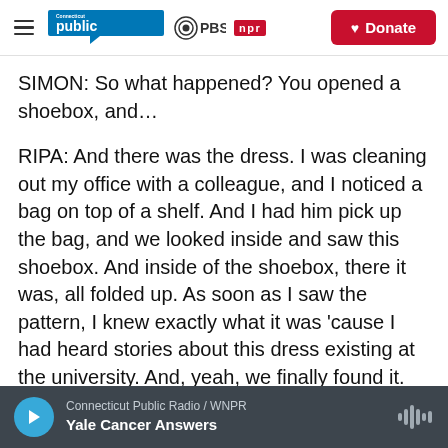Connecticut Public PBS NPR — Donate
SIMON: So what happened? You opened a shoebox, and…
RIPA: And there was the dress. I was cleaning out my office with a colleague, and I noticed a bag on top of a shelf. And I had him pick up the bag, and we looked inside and saw this shoebox. And inside of the shoebox, there it was, all folded up. As soon as I saw the pattern, I knew exactly what it was 'cause I had heard stories about this dress existing at the university. And, yeah, we finally found it.
Connecticut Public Radio / WNPR — Yale Cancer Answers